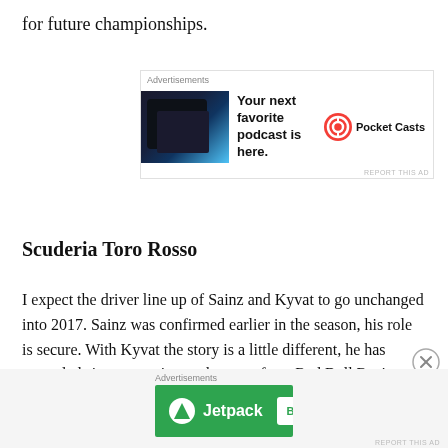for future championships.
[Figure (other): Advertisement banner for Pocket Casts podcast app showing: app screenshot image, text 'Your next favorite podcast is here.' and Pocket Casts logo]
Scuderia Toro Rosso
I expect the driver line up of Sainz and Kyvat to go unchanged into 2017. Sainz was confirmed earlier in the season, his role is secure. With Kyvat the story is a little different, he has struggled since returning to the team from Red Bull Racing. His ultimate pace and skill are not in question. The team must work with him to rebuild his self confidence. STR has historically been the home of junior Red Bull drivers. Pierre
[Figure (other): Advertisement banner for Jetpack showing green background with Jetpack logo and 'Back up your site' button]